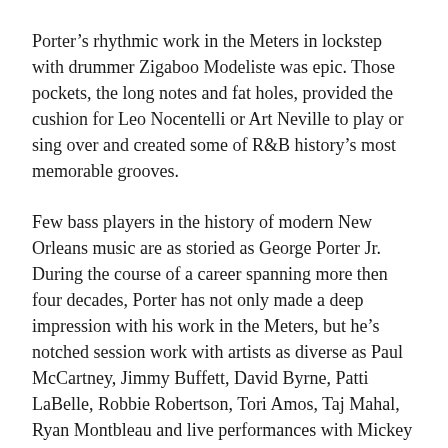Porter's rhythmic work in the Meters in lockstep with drummer Zigaboo Modeliste was epic. Those pockets, the long notes and fat holes, provided the cushion for Leo Nocentelli or Art Neville to play or sing over and created some of R&B history's most memorable grooves.
Few bass players in the history of modern New Orleans music are as storied as George Porter Jr. During the course of a career spanning more then four decades, Porter has not only made a deep impression with his work in the Meters, but he's notched session work with artists as diverse as Paul McCartney, Jimmy Buffett, David Byrne, Patti LaBelle, Robbie Robertson, Tori Amos, Taj Mahal, Ryan Montbleau and live performances with Mickey Hart, Bill Kreutzmann, Warren Haynes, John Scofield, Steve Kimock, Eric Krasno (and including recent studio releases with Warren Haynes and Bill Kreutzmann) just to name a few. Early in his career, Porter worked with seminal